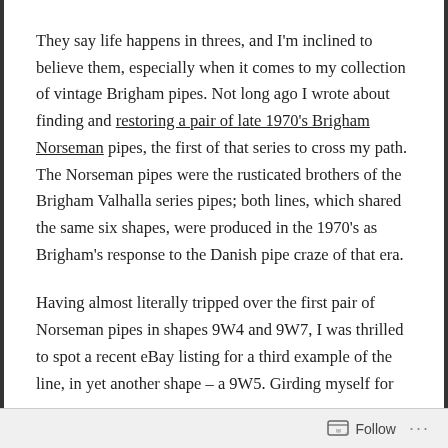They say life happens in threes, and I'm inclined to believe them, especially when it comes to my collection of vintage Brigham pipes. Not long ago I wrote about finding and restoring a pair of late 1970's Brigham Norseman pipes, the first of that series to cross my path. The Norseman pipes were the rusticated brothers of the Brigham Valhalla series pipes; both lines, which shared the same six shapes, were produced in the 1970's as Brigham's response to the Danish pipe craze of that era.
Having almost literally tripped over the first pair of Norseman pipes in shapes 9W4 and 9W7, I was thrilled to spot a recent eBay listing for a third example of the line, in yet another shape – a 9W5. Girding myself for
Follow ···